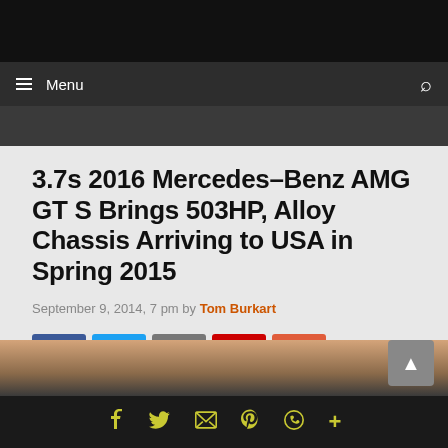Menu
3.7s 2016 Mercedes-Benz AMG GT S Brings 503HP, Alloy Chassis Arriving to USA in Spring 2015
September 9, 2014, 7 pm by Tom Burkart
[Figure (other): Social share buttons: Facebook (blue), Twitter (light blue), Email (gray), Pinterest (red), More (orange-red)]
[Figure (photo): Partial view of a car, bottom of page]
Social share icons: Facebook, Twitter, Email, Pinterest, WhatsApp, More